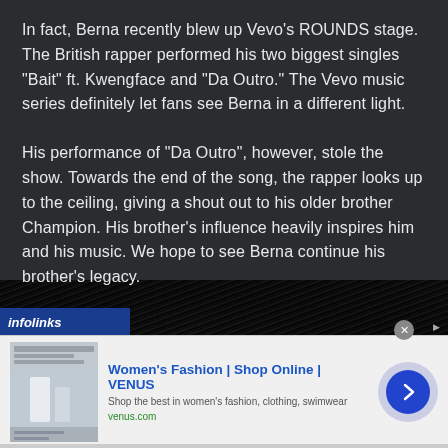In fact, Berna recently blew up Vevo's ROUNDS stage. The British rapper performed his two biggest singles "Bait" ft. Kwengface and "Da Outro." The Vevo music series definitely let fans see Berna in a different light.
His performance of "Da Outro", however, stole the show. Towards the end of the song, the rapper looks up to the ceiling, giving a shout out to his older brother Champion. His brother's influence heavily inspires him and his music. We hope to see Berna continue his brother's legacy.
[Figure (photo): Dark background showing black hair/dreads in lower portion of image, with infolinks branding bar in bottom-left corner]
[Figure (screenshot): Advertisement banner: Women's Fashion | Shop Online | VENUS. Shop the best in women's fashion, clothing, swimwear. venus.com. Shows a fashion website screenshot thumbnail on the left and a blue arrow button on the right.]